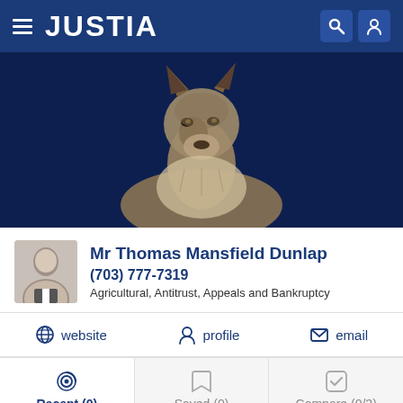JUSTIA
[Figure (photo): A wolf photographed against a dark navy blue background, facing right in a regal pose]
Mr Thomas Mansfield Dunlap
(703) 777-7319
Agricultural, Antitrust, Appeals and Bankruptcy
website   profile   email
Recent (0)   Saved (0)   Compare (0/3)